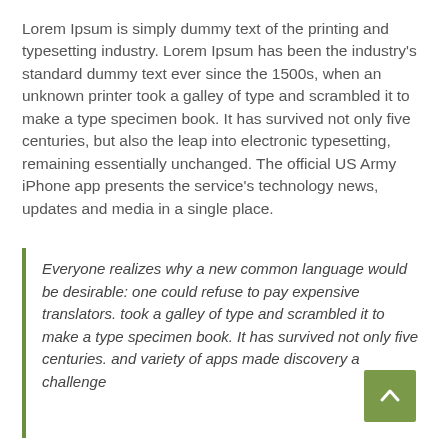Lorem Ipsum is simply dummy text of the printing and typesetting industry. Lorem Ipsum has been the industry's standard dummy text ever since the 1500s, when an unknown printer took a galley of type and scrambled it to make a type specimen book. It has survived not only five centuries, but also the leap into electronic typesetting, remaining essentially unchanged. The official US Army iPhone app presents the service's technology news, updates and media in a single place.
Everyone realizes why a new common language would be desirable: one could refuse to pay expensive translators. took a galley of type and scrambled it to make a type specimen book. It has survived not only five centuries. and variety of apps made discovery a challenge